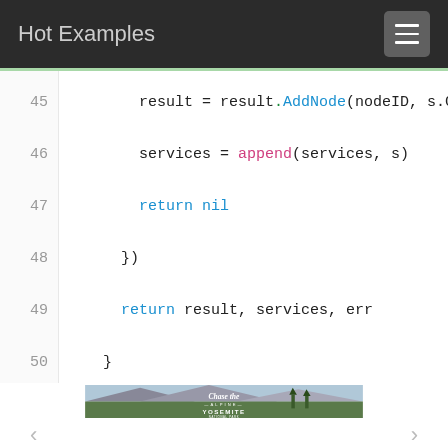Hot Examples
[Figure (screenshot): Code snippet showing Go language lines 45-50: result = result.AddNode(nodeID, s.G), services = append(services, s), return nil, }), return result, services, err, }]
[Figure (photo): Yosemite National Park promotional image with 'Chase the Alpine Yosemite National Park' text overlay, showing mountain landscape with hikers in foreground. Navigation arrows below image.]